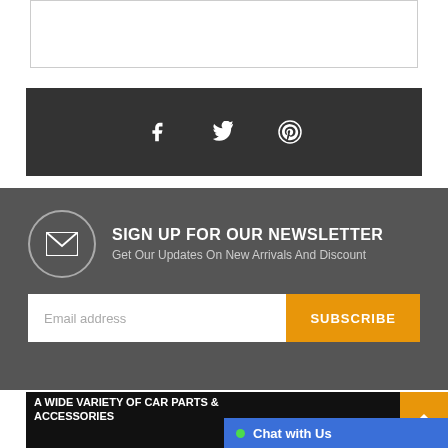[Figure (screenshot): White box at top, partial content cut off]
[Figure (infographic): Dark gray social media bar with Facebook, Twitter, and Pinterest icons]
SIGN UP FOR OUR NEWSLETTER
Get Our Updates On New Arrivals And Discount
Email address
SUBSCRIBE
[Figure (infographic): A wide variety of car parts & accessories banner with 'Find Yours Today!' text and car part images]
Chat with Us